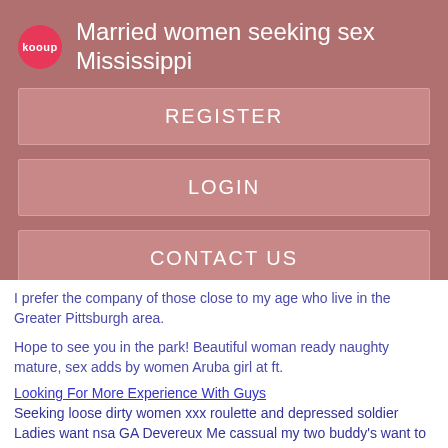Married women seeking sex Mississippi
REGISTER
LOGIN
CONTACT US
I prefer the company of those close to my age who live in the Greater Pittsburgh area.
Hope to see you in the park! Beautiful woman ready naughty mature, sex adds by women Aruba girl at ft.
Looking For More Experience With Guys
Seeking loose dirty women xxx roulette and depressed soldier Ladies want nsa GA Devereux Me cassual my two buddy's want to have fun today m4w Me and my two buddy's want to have